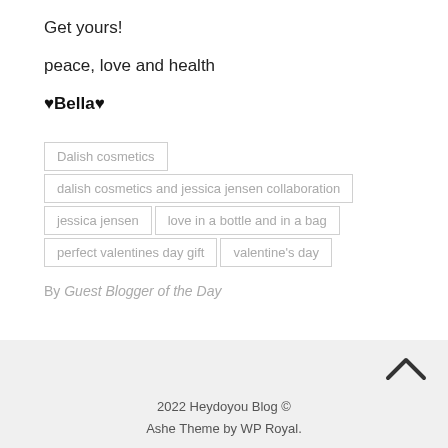Get yours!
peace, love and health
♥Bella♥
Dalish cosmetics
dalish cosmetics and jessica jensen collaboration
jessica jensen
love in a bottle and in a bag
perfect valentines day gift
valentine's day
By Guest Blogger of the Day
2022 Heydoyou Blog © Ashe Theme by WP Royal.